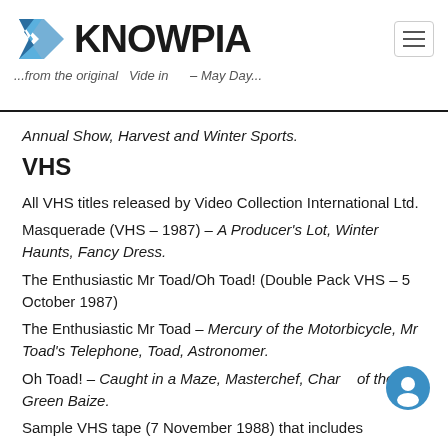KNOWPIA
Annual Show, Harvest and Winter Sports.
VHS
All VHS titles released by Video Collection International Ltd.
Masquerade (VHS – 1987) – A Producer's Lot, Winter Haunts, Fancy Dress.
The Enthusiastic Mr Toad/Oh Toad! (Double Pack VHS – 5 October 1987)
The Enthusiastic Mr Toad – Mercury of the Motorbicycle, Mr Toad's Telephone, Toad, Astronomer.
Oh Toad! – Caught in a Maze, Masterchef, Charm of the Green Baize.
Sample VHS tape (7 November 1988) that includes